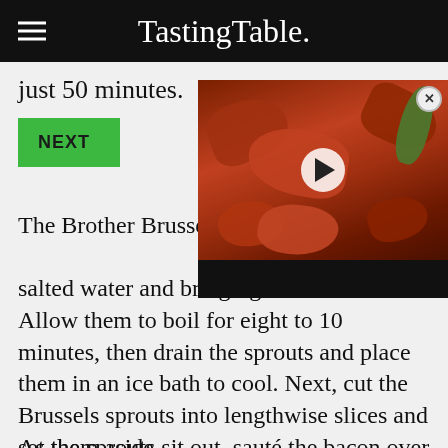TastingTable.
just 50 minutes.
[Figure (screenshot): Video overlay showing a plate of sauced chicken wings with a play button, overlapping a NEXT button]
The Brother Brussels rec... Brussels sprouts to salted water and bringing them to a boil. Allow them to boil for eight to 10 minutes, then drain the sprouts and place them in an ice bath to cool. Next, cut the Brussels sprouts into lengthwise slices and set them aside.
As the sprouts sit out, sauté the bacon over